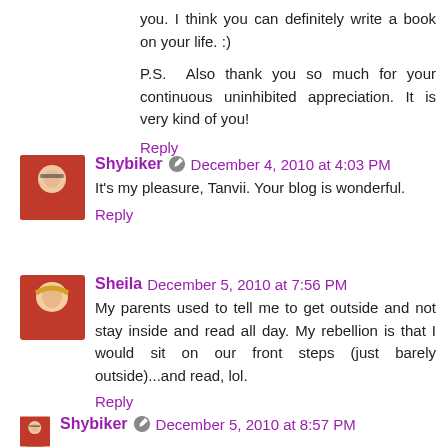you. I think you can definitely write a book on your life. :)
P.S. Also thank you so much for your continuous uninhibited appreciation. It is very kind of you!
Reply
Shybiker  December 4, 2010 at 4:03 PM
It's my pleasure, Tanvii. Your blog is wonderful.
Reply
Sheila  December 5, 2010 at 7:56 PM
My parents used to tell me to get outside and not stay inside and read all day. My rebellion is that I would sit on our front steps (just barely outside)...and read, lol.
Reply
Shybiker  December 5, 2010 at 8:57 PM